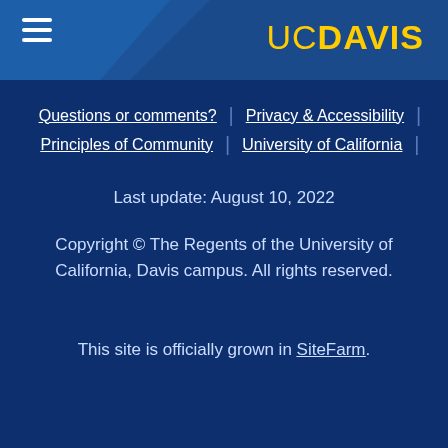UC DAVIS
Questions or comments? | Privacy & Accessibility | Principles of Community | University of California
Last update: August 10, 2022
Copyright © The Regents of the University of California, Davis campus. All rights reserved.
This site is officially grown in SiteFarm.